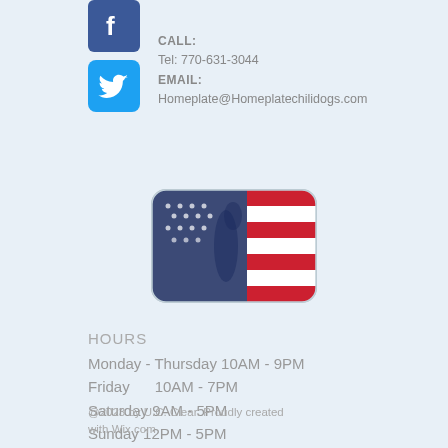[Figure (logo): Facebook icon - blue square with white 'f' letter]
[Figure (logo): Twitter icon - light blue square with white bird logo]
CALL:
Tel: 770-631-3044
EMAIL:
Homeplate@Homeplatechilidogs.com
[Figure (logo): Baseball logo with American flag design - batter silhouette with US flag stars and stripes pattern]
HOURS
Monday - Thursday  10AM - 9PM
Friday      10AM - 7PM
Saturday  9AM - 5PM
Sunday   12PM - 5PM
*Please check our Holiday closing dates on our social media
@2023 by U.C. Clear. Proudly created with Wix.com